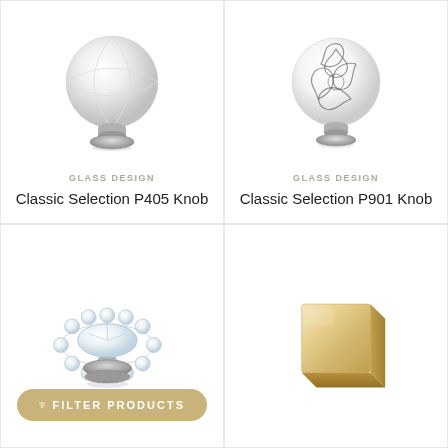[Figure (photo): Classic Selection P405 Knob - round spherical glass knob with chrome base, silver/white finish]
GLASS DESIGN
Classic Selection P405 Knob
[Figure (photo): Classic Selection P901 Knob - round glass knob with floral pattern, chrome base]
GLASS DESIGN
Classic Selection P901 Knob
[Figure (photo): Crystal glass knob with faceted/bubble edges, chrome base - ornate decorative design]
[Figure (photo): Square gold/brass knob, matte finish, modern design]
FILTER PRODUCTS